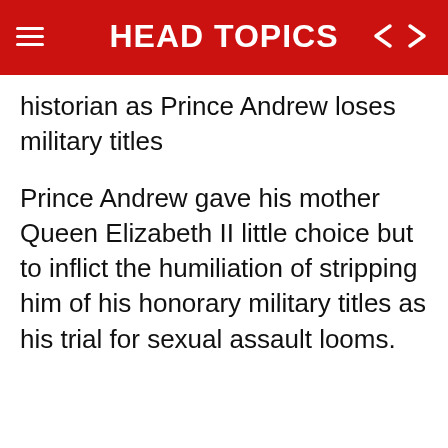HEAD TOPICS
historian as Prince Andrew loses military titles
Prince Andrew gave his mother Queen Elizabeth II little choice but to inflict the humiliation of stripping him of his honorary military titles as his trial for sexual assault looms.